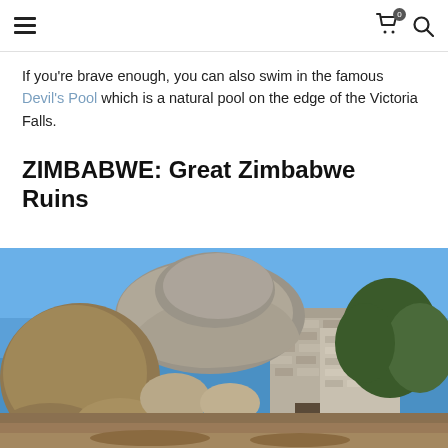Navigation header with hamburger menu, cart icon with badge 0, and search icon
If you're brave enough, you can also swim in the famous Devil's Pool which is a natural pool on the edge of the Victoria Falls.
ZIMBABWE: Great Zimbabwe Ruins
[Figure (photo): Photograph of the Great Zimbabwe Ruins showing large granite boulders alongside ancient stone walls under a clear blue sky with green trees in the background]